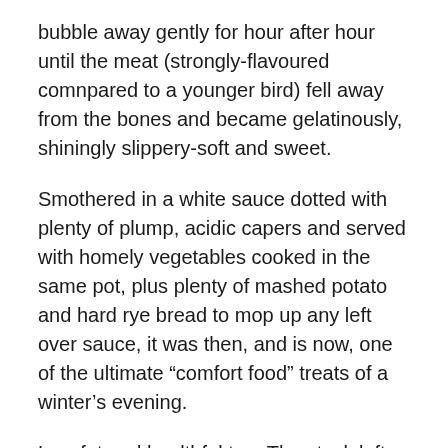bubble away gently for hour after hour until the meat (strongly-flavoured comnpared to a younger bird) fell away from the bones and became gelatinously, shiningly slippery-soft and sweet.
Smothered in a white sauce dotted with plenty of plump, acidic capers and served with homely vegetables cooked in the same pot, plus plenty of mashed potato and hard rye bread to mop up any left over sauce, it was then, and is now, one of the ultimate “comfort food” treats of a winter’s evening.
Low fat and healthful too. The stock left over after the cooking makes a wonderful base for any soup or stew.
The recipe below can be varied to suit your personal tastes, but don’t add too much in the way of additional